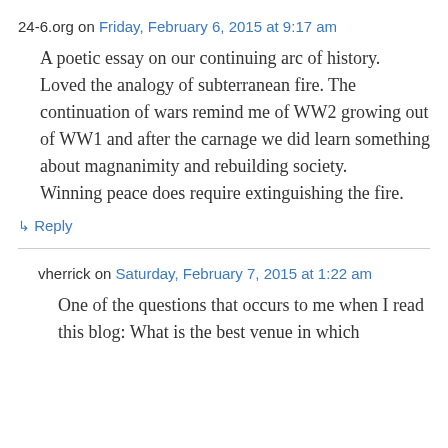24-6.org on Friday, February 6, 2015 at 9:17 am
A poetic essay on our continuing arc of history. Loved the analogy of subterranean fire. The continuation of wars remind me of WW2 growing out of WW1 and after the carnage we did learn something about magnanimity and rebuilding society.
Winning peace does require extinguishing the fire.
↳ Reply
vherrick on Saturday, February 7, 2015 at 1:22 am
One of the questions that occurs to me when I read this blog: What is the best venue in which